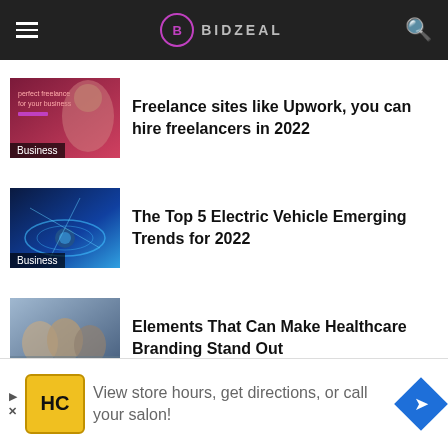BIDZEAL
Freelance sites like Upwork, you can hire freelancers in 2022 | Business
The Top 5 Electric Vehicle Emerging Trends for 2022 | Business
Elements That Can Make Healthcare Branding Stand Out | Business
View store hours, get directions, or call your salon!